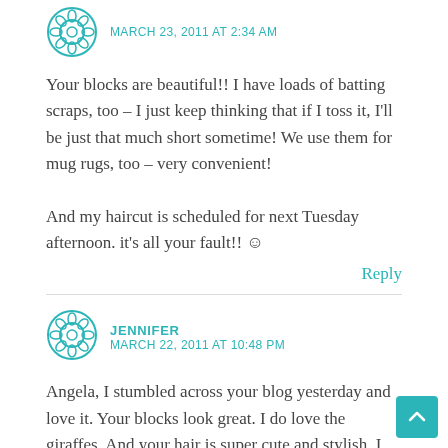[Figure (illustration): Teal decorative snowflake/flower avatar icon for first commenter]
MARCH 23, 2011 AT 2:34 AM
Your blocks are beautiful!! I have loads of batting scraps, too – I just keep thinking that if I toss it, I'll be just that much short sometime! We use them for mug rugs, too – very convenient!

And my haircut is scheduled for next Tuesday afternoon. it's all your fault!! ☺
Reply
[Figure (illustration): Teal decorative snowflake/flower avatar icon for Jennifer commenter]
JENNIFER
MARCH 22, 2011 AT 10:48 PM
Angela, I stumbled across your blog yesterday and love it. Your blocks look great. I do love the giraffes. And your hair is super cute and stylish. I chopped mine recently as I was having a bad case of mom ponytail too.
Looking forward to reading more of your posts. ♥ If you have a chance, I would love for you to check out mine.